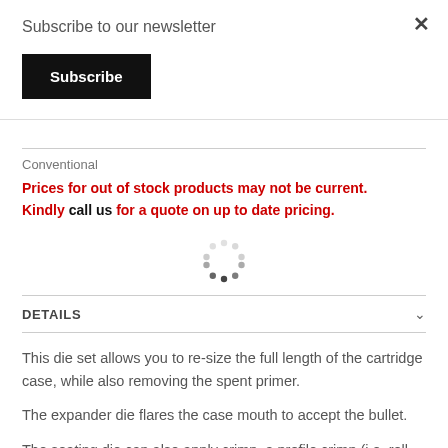Subscribe to our newsletter
Subscribe
×
Conventional
Prices for out of stock products may not be current. Kindly call us for a quote on up to date pricing.
[Figure (other): Loading spinner animation showing grey dots arranged in a circle]
DETAILS
This die set allows you to re-size the full length of the cartridge case, while also removing the spent primer.
The expander die flares the case mouth to accept the bullet.
The seating die can also apply crimp, a profile crimp (i.e. roll